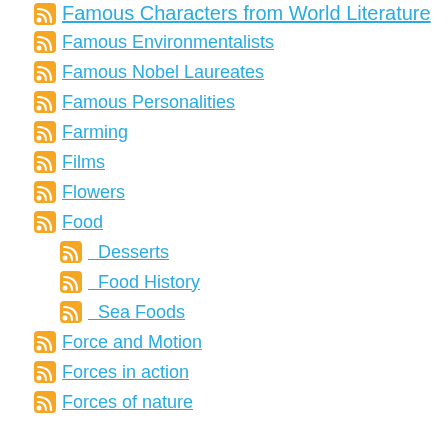Famous Characters from World Literature
Famous Environmentalists
Famous Nobel Laureates
Famous Personalities
Farming
Films
Flowers
Food
Desserts
Food History
Sea Foods
Force and Motion
Forces in action
Forces of nature